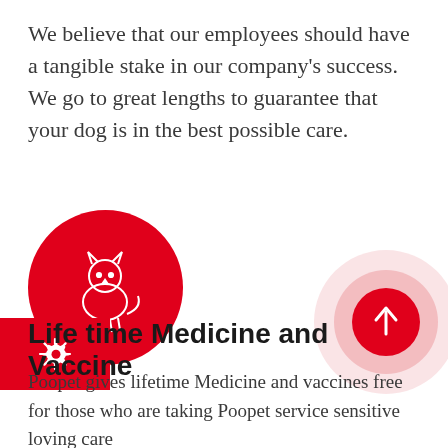We believe that our employees should have a tangible stake in our company's success. We go to great lengths to guarantee that your dog is in the best possible care.
[Figure (illustration): Large red circle with white cat/dog icon, overlapping a red square with a white gear/settings icon in the lower left]
Life time Medicine and Vaccine
[Figure (illustration): Pulsing red circle with an upward arrow icon, decorative UI element]
Poopet gives lifetime Medicine and vaccines free for those who are taking Poopet service sensitive loving care